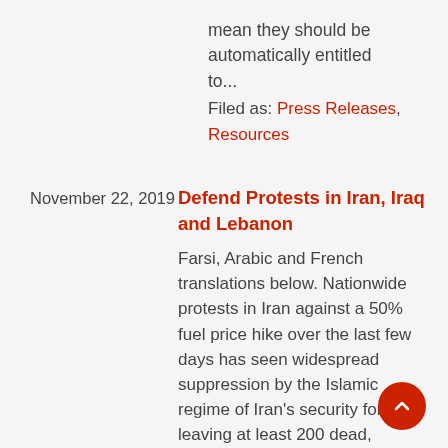mean they should be automatically entitled to...
Filed as: Press Releases, Resources
November 22, 2019
Defend Protests in Iran, Iraq and Lebanon
Farsi, Arabic and French translations below. Nationwide protests in Iran against a 50% fuel price hike over the last few days has seen widespread suppression by the Islamic regime of Iran's security forces leaving at least 200 dead, hundreds injured and over a thousand arrested. The use of overwhelming force by security forces has been coupled with an Internet black out to prevent news of the uprising and its suppression from